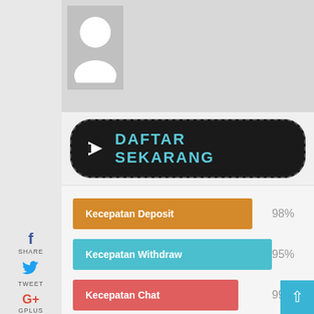[Figure (illustration): Avatar placeholder icon - white silhouette on grey background]
f SHARE
TWEET
G+ GPLUS
in SHARE
[Figure (other): Dark button with dashed border containing arrow icon and text DAFTAR SEKARANG]
Kecepatan Deposit 98%
Kecepatan Withdraw 95%
Kecepatan Chat 99%